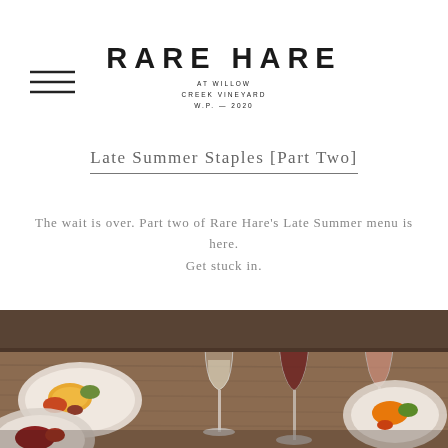[Figure (logo): Rare Hare at Willow Creek Vineyard logo with hamburger menu icon]
Late Summer Staples [Part Two]
The wait is over. Part two of Rare Hare's Late Summer menu is here.
Get stuck in.
[Figure (photo): Restaurant table scene with wine glasses containing red, white, and rosé wine, and plates of food on a wooden table]